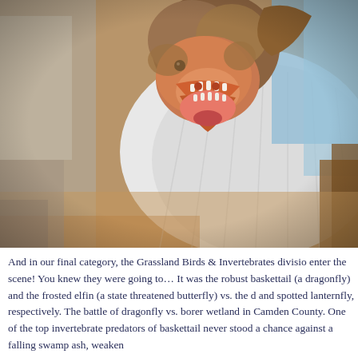[Figure (photo): Close-up photo of a small brown bat with its mouth wide open showing teeth and pink mouth interior, held near a white gloved hand or cloth, with a cardboard box visible in the background.]
And in our final category, the Grassland Birds & Invertebrates division enter the scene! You knew they were going to… It was the robust baskettail (a dragonfly) and the frosted elfin (a state threatened butterfly) vs. the d and spotted lanternfly, respectively. The battle of dragonfly vs. borer wetland in Camden County. One of the top invertebrate predators of baskettail never stood a chance against a falling swamp ash, weaken